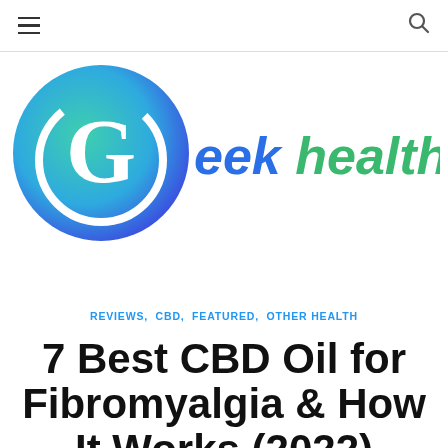Geek Health Journal
[Figure (logo): Geek Health Journal logo with circular G icon in blue-green gradient and colorful text]
REVIEWS, CBD, FEATURED, OTHER HEALTH
7 Best CBD Oil for Fibromyalgia & How It Works (2022)